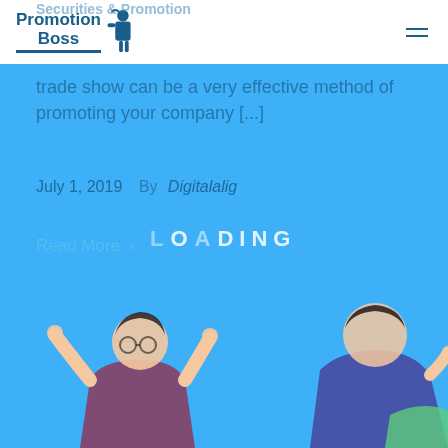Promotion Boss
trade show can be a very effective method of promoting your company [...]
July 1, 2019   By Digitalalig
Read More >
LOADING
[Figure (illustration): Partial illustration of a person with their hands on their head, visible at the bottom of the page against a blue background, with another partially visible figure on the right side.]